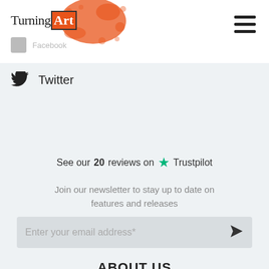[Figure (logo): TurningArt logo with orange splat watercolor background]
Twitter
See our 20 reviews on Trustpilot
Join our newsletter to stay up to date on features and releases
Enter your email address*
ABOUT US
Mission
Benefits
Our Story
How it Works